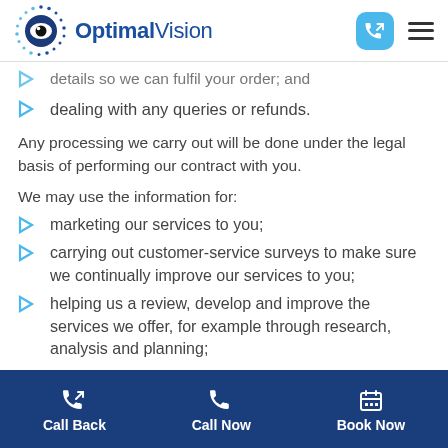OptimalVision
details so we can fulfil your order; and
dealing with any queries or refunds.
Any processing we carry out will be done under the legal basis of performing our contract with you.
We may use the information for:
marketing our services to you;
carrying out customer-service surveys to make sure we continually improve our services to you;
helping us a review, develop and improve the services we offer, for example through research, analysis and planning;
Call Back   Call Now   Book Now